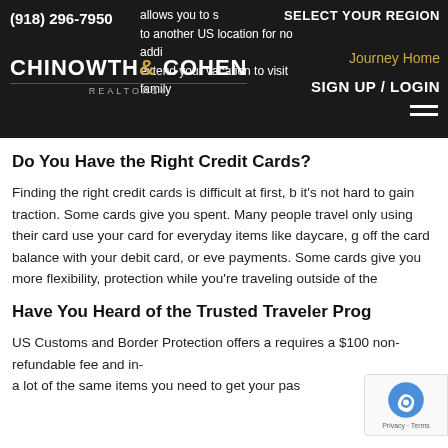(918) 296-7950 | SELECT YOUR REGION | Journey Home | SIGN UP / LOGIN | CHINOWTH & COHEN REALTORS
Do You Have the Right Credit Cards?
Finding the right credit cards is difficult at first, but it's not hard to gain traction. Some cards give you points per dollar spent. Many people travel only using their card rewards. You can use your card for everyday items like daycare, groceries, etc. pay off the card balance with your debit card, or even set up auto payments. Some cards give you more flexibility, more purchase protection while you're traveling outside of the US.
Have You Heard of the Trusted Traveler Programs?
US Customs and Border Protection offers a program that requires a $100 non-refundable fee and in-person interview, a lot of the same items you need to get your passport.